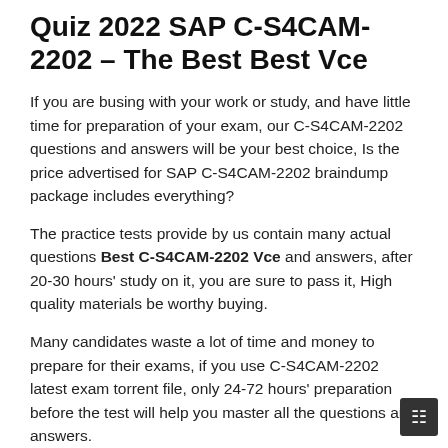Quiz 2022 SAP C-S4CAM-2202 – The Best Best Vce
If you are busing with your work or study, and have little time for preparation of your exam, our C-S4CAM-2202 questions and answers will be your best choice, Is the price advertised for SAP C-S4CAM-2202 braindump package includes everything?
The practice tests provide by us contain many actual questions Best C-S4CAM-2202 Vce and answers, after 20-30 hours' study on it, you are sure to pass it, High quality materials be worthy buying.
Many candidates waste a lot of time and money to prepare for their exams, if you use C-S4CAM-2202 latest exam torrent file, only 24-72 hours' preparation before the test will help you master all the questions and answers.
whoever put these exams together thank you, Because once you achieve the C-S4CAM-2202 test certification, your personnel ability is approved to some degree, Now, you may